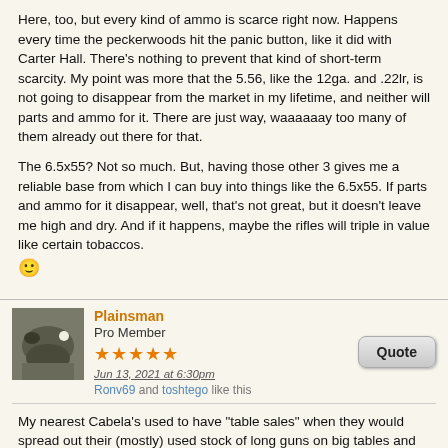Here, too, but every kind of ammo is scarce right now.  Happens every time the peckerwoods hit the panic button, like it did with Carter Hall.  There's nothing to prevent that kind of short-term scarcity.  My point was more that the 5.56, like the 12ga. and .22lr, is not going to disappear from the market in my lifetime, and neither will parts and ammo for it.  There are just way, waaaaaay too many of them already out there for that.
The 6.5x55?  Not so much.  But, having those other 3 gives me a reliable base from which I can buy into things like the 6.5x55.  If parts and ammo for it disappear, well, that's not great, but it doesn't leave me high and dry.  And if it happens, maybe the rifles will triple in value like certain tobaccos. 🙂
Plainsman
Pro Member
Jun 13, 2021 at 6:30pm
Ronv69 and toshtego like this
My nearest Cabela's used to have "table sales" when they would spread out their (mostly) used stock of long guns on big tables and let the herds fondle them to their hearts' content. From several yards away I noticed an original Swede cavalry carbine and vectored in on it. At the last second a teen veered in ahead of me and grabbed it, so mommy could buy it for him. Drat. That was the last one I have seen in years. I later bought a virtually identical carbine from a collector, but it was an 1898 Spanish Mauser (Orvieto) carbine in 7x57. With the popularity of the various modern 6.5s the availability and supply of ammunition. For the Swede, that problem...